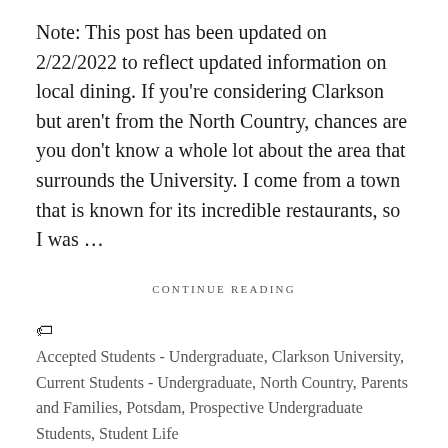Note: This post has been updated on 2/22/2022 to reflect updated information on local dining. If you're considering Clarkson but aren't from the North Country, chances are you don't know a whole lot about the area that surrounds the University. I come from a town that is known for its incredible restaurants, so I was …
CONTINUE READING
Accepted Students - Undergraduate, Clarkson University, Current Students - Undergraduate, North Country, Parents and Families, Potsdam, Prospective Undergraduate Students, Student Life